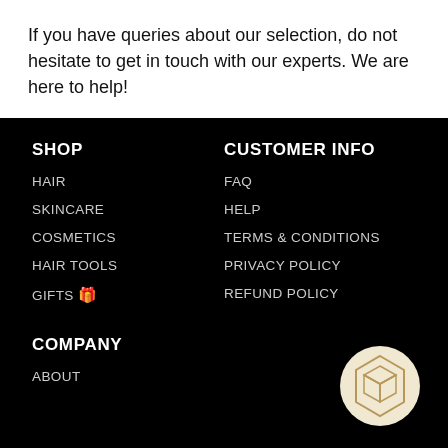If you have queries about our selection, do not hesitate to get in touch with our experts. We are here to help!
SHOP
HAIR
SKINCARE
COSMETICS
HAIR TOOLS
GIFTS 🎁
CUSTOMER INFO
FAQ
HELP
TERMS & CONDITIONS
PRIVACY POLICY
REFUND POLICY
COMPANY
ABOUT
[Figure (logo): Geometric cube logo in gold/beige color inside a white circle, positioned in bottom right corner]